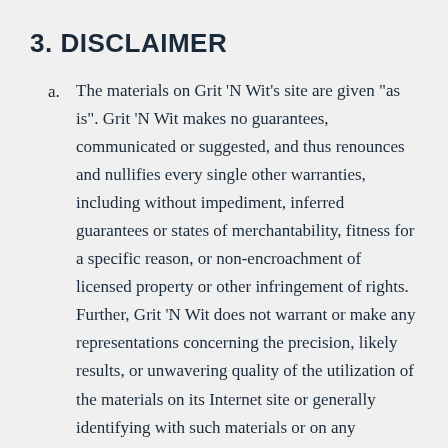3. DISCLAIMER
a. The materials on Grit 'N Wit's site are given "as is". Grit 'N Wit makes no guarantees, communicated or suggested, and thus renounces and nullifies every single other warranties, including without impediment, inferred guarantees or states of merchantability, fitness for a specific reason, or non-encroachment of licensed property or other infringement of rights. Further, Grit 'N Wit does not warrant or make any representations concerning the precision, likely results, or unwavering quality of the utilization of the materials on its Internet site or generally identifying with such materials or on any destinations connected to this website.